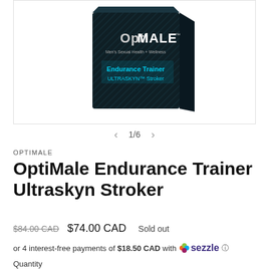[Figure (photo): Product box for OptiMale Endurance Trainer ULTRASKYN Stroker — dark/black box with teal and white text and diagonal pattern design]
1/6
OPTIMALE
OptiMale Endurance Trainer Ultraskyn Stroker
$84.00 CAD  $74.00 CAD  Sold out
or 4 interest-free payments of $18.50 CAD with  sezzle ℹ
Quantity